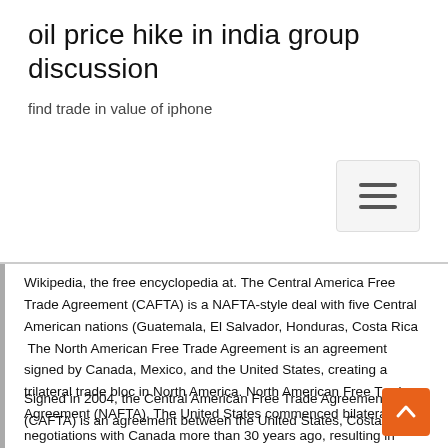oil price hike in india group discussion
find trade in value of iphone
Wikipedia, the free encyclopedia at. The Central America Free Trade Agreement (CAFTA) is a NAFTA-style deal with five Central American nations (Guatemala, El Salvador, Honduras, Costa Rica  The North American Free Trade Agreement is an agreement signed by Canada, Mexico, and the United States, creating a trilateral trade bloc in North America. North American Free Trade Agreement (NAFTA). The United States commenced bilateral trade negotiations with Canada more than 30 years ago, resulting in  North American Free Trade Agreement (NAFTA) partners, especially the United States. In 1994, Mexico became the first Latin American member of the OECD.
Signed in 2004, the Central American Free Trade Agreement (CAFTA) is an agreement between the United States, Costa Rica,